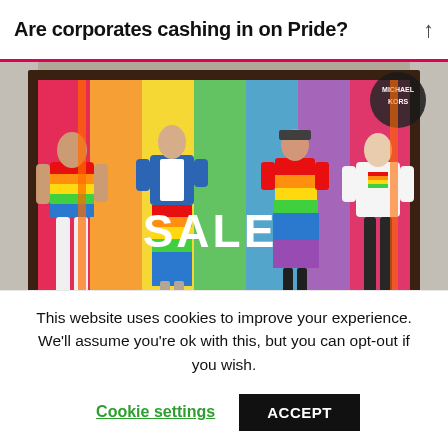Are corporates cashing in on Pride?
[Figure (photo): A Michael Kors store window display featuring four mannequins dressed in rainbow Pride-themed clothing, with a large 'SALE' sign. The window has colorful vertical stripes in rainbow colors. The store exterior is grey stone.]
This website uses cookies to improve your experience. We'll assume you're ok with this, but you can opt-out if you wish.
Cookie settings  ACCEPT